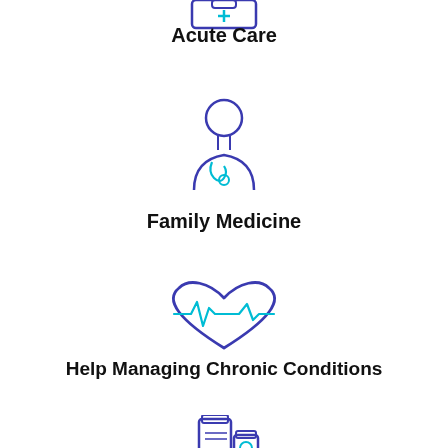[Figure (illustration): Acute Care icon - clipboard with medical cross, partially cropped at top]
Acute Care
[Figure (illustration): Family Medicine icon - outline of a doctor with stethoscope in blue/purple]
Family Medicine
[Figure (illustration): Heart with EKG line icon for chronic conditions, blue/purple heart outline with cyan pulse line]
Help Managing Chronic Conditions
[Figure (illustration): Prescription/medication bottles icon, partially cropped at bottom]